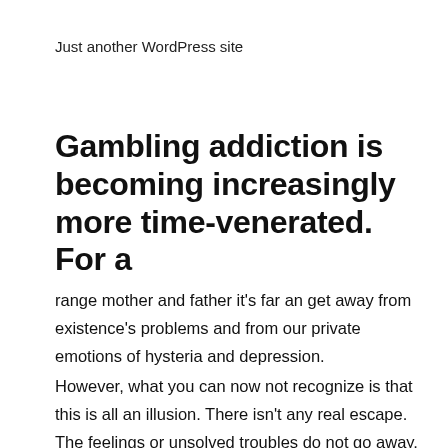Just another WordPress site
Gambling addiction is becoming increasingly more time-venerated. For a
range mother and father it's far an get away from existence's problems and from our private emotions of hysteria and depression.
However, what you can now not recognize is that this is all an illusion. There isn't any real escape. The feelings or unsolved troubles do not go away, they'll even